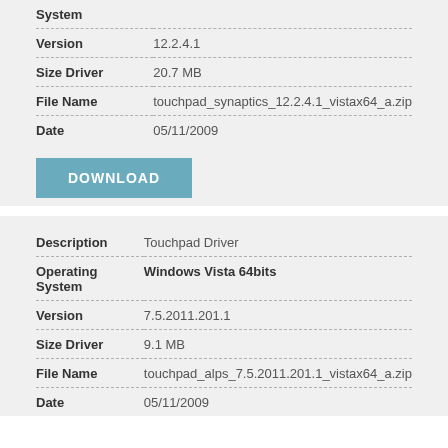| Field | Value |
| --- | --- |
| System |  |
| Version | 12.2.4.1 |
| Size Driver | 20.7 MB |
| File Name | touchpad_synaptics_12.2.4.1_vistax64_a.zip |
| Date | 05/11/2009 |
DOWNLOAD
| Field | Value |
| --- | --- |
| Description | Touchpad Driver |
| Operating System | Windows Vista 64bits |
| Version | 7.5.2011.201.1 |
| Size Driver | 9.1 MB |
| File Name | touchpad_alps_7.5.2011.201.1_vistax64_a.zip |
| Date | 05/11/2009 |